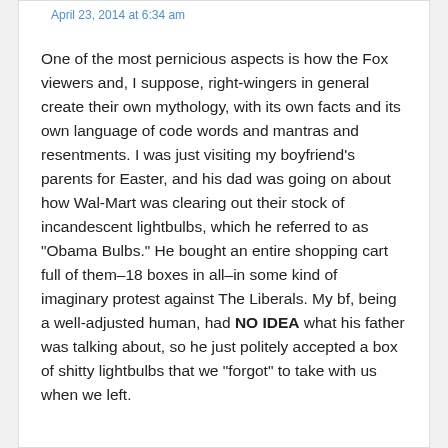April 23, 2014 at 6:34 am
One of the most pernicious aspects is how the Fox viewers and, I suppose, right-wingers in general create their own mythology, with its own facts and its own language of code words and mantras and resentments. I was just visiting my boyfriend's parents for Easter, and his dad was going on about how Wal-Mart was clearing out their stock of incandescent lightbulbs, which he referred to as "Obama Bulbs." He bought an entire shopping cart full of them–18 boxes in all–in some kind of imaginary protest against The Liberals. My bf, being a well-adjusted human, had NO IDEA what his father was talking about, so he just politely accepted a box of shitty lightbulbs that we "forgot" to take with us when we left.
el mago says: